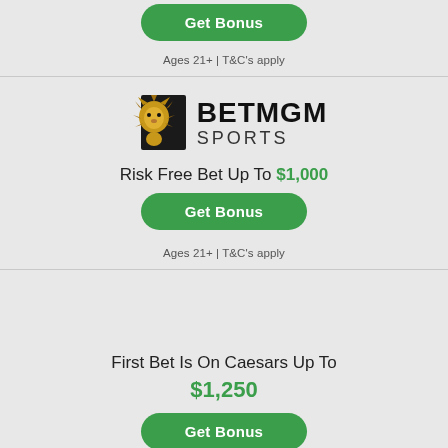[Figure (logo): Green button (top, partially cut off)]
Ages 21+ | T&C's apply
[Figure (logo): BetMGM Sports logo with lion graphic]
Risk Free Bet Up To $1,000
Get Bonus
Ages 21+ | T&C's apply
First Bet Is On Caesars Up To $1,250
Get Bonus
Ages 21+ | T&C's apply